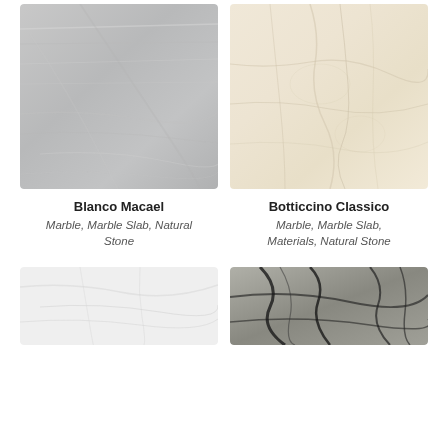[Figure (photo): Blanco Macael marble slab - grey/white marble texture with subtle linear veining]
[Figure (photo): Botticcino Classico marble slab - cream/beige marble texture with fine veining]
Blanco Macael
Marble, Marble Slab, Natural Stone
Botticcino Classico
Marble, Marble Slab, Materials, Natural Stone
[Figure (photo): White marble slab texture - bright white with grey veining (bottom left, partially visible)]
[Figure (photo): Dark marble slab texture - black and white dramatic veining (bottom right, partially visible)]